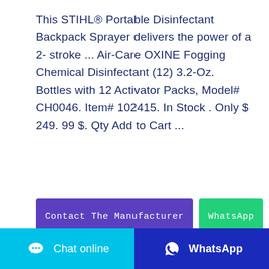This STIHL® Portable Disinfectant Backpack Sprayer delivers the power of a 2- stroke ... Air-Care OXINE Fogging Chemical Disinfectant (12) 3.2-Oz. Bottles with 12 Activator Packs, Model# CH0046. Item# 102415. In Stock . Only $ 249. 99 $. Qty Add to Cart ...
[Figure (other): Blue 'Contact The Manufacturer' button and green 'WhatsApp' button side by side]
[Figure (photo): Dark blue-grey product image (partially visible) showing what appears to be a sprayer nozzle]
[Figure (other): Cyan circular chat bubble icon floating on right side]
[Figure (other): Bottom bar with 'Chat online' button (cyan) on left and 'WhatsApp' button (dark blue) on right]